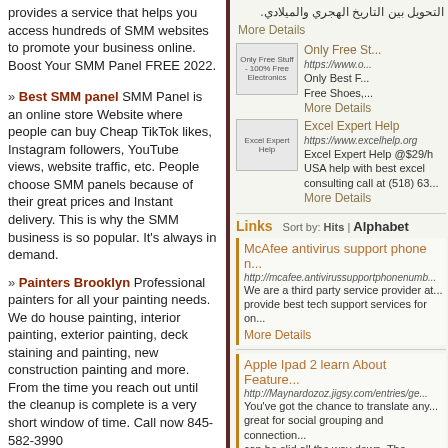provides a service that helps you access hundreds of SMM websites to promote your business online. Boost Your SMM Panel FREE 2022.
» Best SMM panel SMM Panel is an online store Website where people can buy Cheap TikTok likes, Instagram followers, YouTube views, website traffic, etc. People choose SMM panels because of their great prices and Instant delivery. This is why the SMM business is so popular. It's always in demand.
» Painters Brooklyn Professional painters for all your painting needs. We do house painting, interior painting, exterior painting, deck staining and painting, new construction painting and more. From the time you reach out until the cleanup is complete is a very short window of time. Call now 845-582-3990
» Lawyer Gary Mazin
التحويل بين التاريخ الهجري والميلادي.
More Details
[Figure (photo): Only Free Stuff - 100% Free Electronics thumbnail image]
Only Free Stuff https://www.o... Only Best F... Free Shoes,... More Details
[Figure (photo): Excel Expert Help thumbnail image]
Excel Expert Help https://www.excelhelp.org Excel Expert Help @$29/h USA help with best excel consulting call at (518) 63... More Details
Links Sort by: Hits | Alphabet
McAfee antivirus support phone n... http://mcafee.antivirussupportphonenumb... We are a third party service provider at... provide best tech support services for on...
More Details
Apple Ipad 2 learn About Feature... http://Maynardozoz.jigsy.com/entries/ge... You've got the chance to translate any... great for social grouping and connection... can be slid all the way down. The visitor...